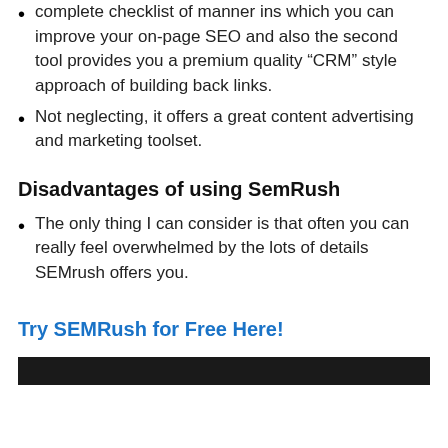complete checklist of manner ins which you can improve your on-page SEO and also the second tool provides you a premium quality “CRM” style approach of building back links.
Not neglecting, it offers a great content advertising and marketing toolset.
Disadvantages of using SemRush
The only thing I can consider is that often you can really feel overwhelmed by the lots of details SEMrush offers you.
Try SEMRush for Free Here!
[Figure (photo): Dark/black image strip at the bottom of the page]